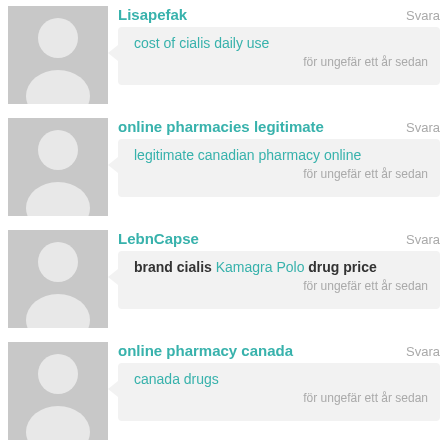Lisapefak
Svara
cost of cialis daily use
för ungefär ett år sedan
online pharmacies legitimate
Svara
legitimate canadian pharmacy online
för ungefär ett år sedan
LebnCapse
Svara
brand cialis Kamagra Polo drug price
för ungefär ett år sedan
online pharmacy canada
Svara
canada drugs
för ungefär ett år sedan